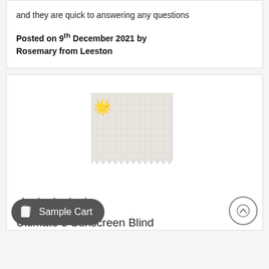and they are quick to answering any questions
Posted on 9th December 2021 by Rosemary from Leeston
[Figure (photo): Fabric swatch sample showing a light beige/off-white woven textile with zigzag cut edges, with a golden sunburst emoji overlapping the top-left corner]
★★★★★
Ultimate 5 Sunscreen Blind